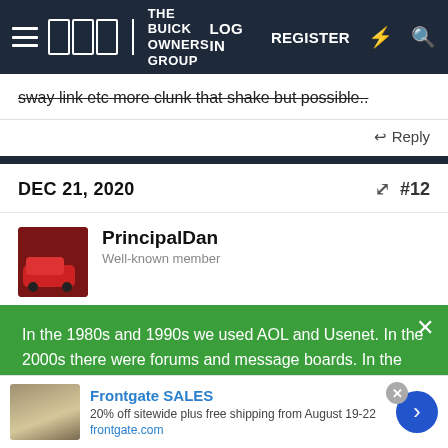THE BUICK OWNERS GROUP | LOG IN | REGISTER
sway link etc more clunk that shake but possible..
Reply
DEC 21, 2020   #12
PrincipalDan
In the 1980s and 1990s we used AOL and Usenet. In the 2000s there were forums and message boards. In the 2010s - and until the very near future - social media. Sal, the Administrator of this community, has something new coming for Buick owners... Become an early adopter of what's next by SIGNING UP HERE. Your email address will
Frontgate SALES | 20% off sitewide plus free shipping from August 19-22 | frontgate.com